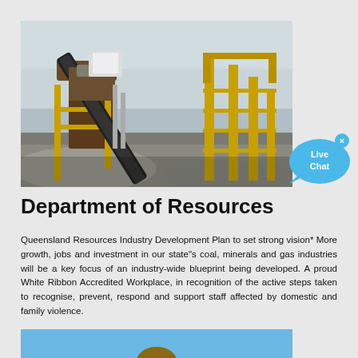[Figure (photo): Industrial mining conveyor belt and processing equipment with yellow metal scaffolding, gravel piles, and grey cloudy sky background.]
Department of Resources
Queensland Resources Industry Development Plan to set strong vision* More growth, jobs and investment in our state"s coal, minerals and gas industries will be a key focus of an industry-wide blueprint being developed. A proud White Ribbon Accredited Workplace, in recognition of the active steps taken to recognise, prevent, respond and support staff affected by domestic and family violence.
[Figure (photo): Partial bottom photo with blue sky background, partially cut off at bottom of page.]